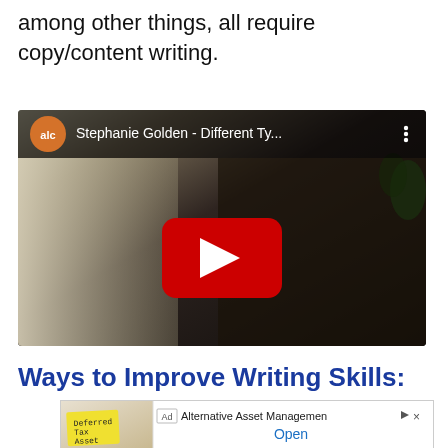among other things, all require copy/content writing.
[Figure (screenshot): YouTube video embed showing 'Stephanie Golden - Different Ty...' with a woman with curly dark hair against a dark background, and a red YouTube play button overlay. The ALC logo (orange speech bubble with 'alc') appears in the top-left corner.]
Ways to Improve Writing Skills:
[Figure (screenshot): Advertisement banner showing 'Ad | Alternative Asset Management' with an image of a yellow sticky note reading 'Deferred Tax Asset' and an 'Open' link in blue.]